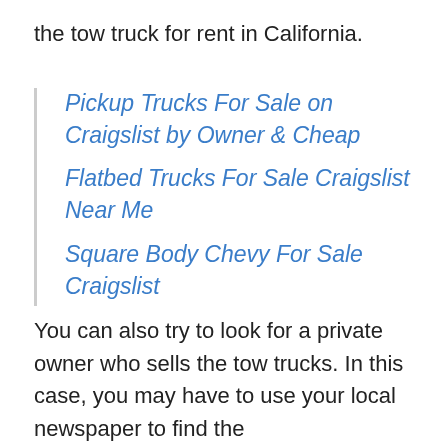the tow truck for rent in California.
Pickup Trucks For Sale on Craigslist by Owner & Cheap
Flatbed Trucks For Sale Craigslist Near Me
Square Body Chevy For Sale Craigslist
You can also try to look for a private owner who sells the tow trucks. In this case, you may have to use your local newspaper to find the